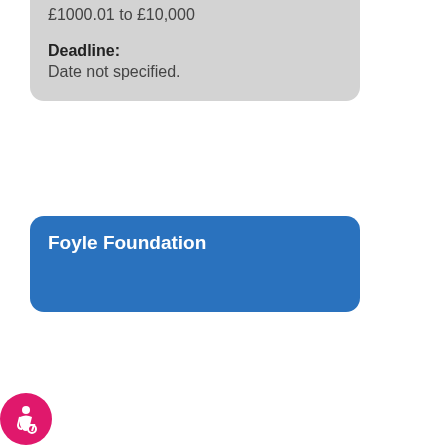£1000.01 to £10,000
Deadline: Date not specified.
Foyle Foundation
[Figure (logo): Foyle Foundation logo: blue rectangle with stylized double-f mark on left and 'FOYLE FOUNDATION' text in white serif font on right]
Aims/Priorities: This Small Grants Scheme is designed to support charities registered and operating in the United Kingdom,